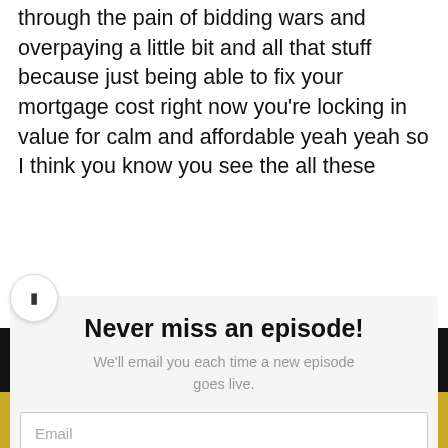through the pain of bidding wars and overpaying a little bit and all that stuff because just being able to fix your mortgage cost right now you're locking in value for calm and affordable yeah yeah so I think you know you see the all these
Never miss an episode!
We'll email you each time a new episode goes live.
Email
SUBSCRIBE!
-15s